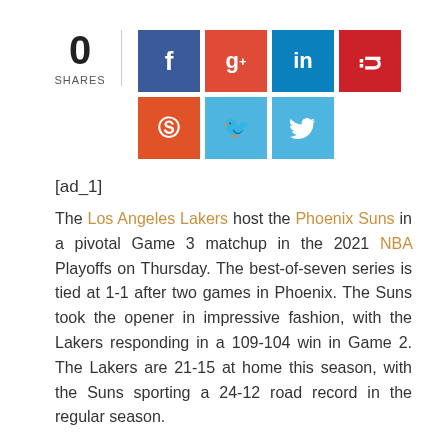[Figure (infographic): Social share widget showing 0 shares with buttons for Facebook, Google+, LinkedIn, Pinterest, StumbleUpon, and Twitter]
[ad_1]
The Los Angeles Lakers host the Phoenix Suns in a pivotal Game 3 matchup in the 2021 NBA Playoffs on Thursday. The best-of-seven series is tied at 1-1 after two games in Phoenix. The Suns took the opener in impressive fashion, with the Lakers responding in a 109-104 win in Game 2. The Lakers are 21-15 at home this season, with the Suns sporting a 24-12 road record in the regular season.
Tip-off is at 10 p.m. ET in Los Angeles. William Hill Sportsbook lists Los Angeles as a seven-point home favorite, while the over-under, or total number of points